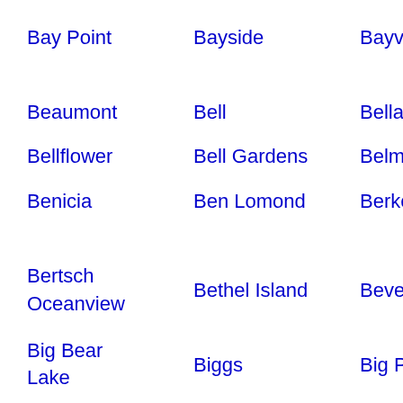Bay Point
Bayside
Bayview
Bea... Spri...
Beaumont
Bell
Bella Vista
Bell...
Bellflower
Bell Gardens
Belmont
Belv...
Benicia
Ben Lomond
Berkeley
Ber... Dun...
Bertsch Oceanview
Bethel Island
Beverly Hills
Big
Big Bear Lake
Biggs
Big Pine
Biol...